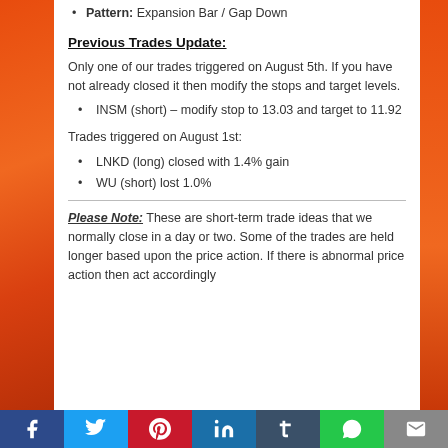Pattern: Expansion Bar / Gap Down
Previous Trades Update:
Only one of our trades triggered on August 5th. If you have not already closed it then modify the stops and target levels.
INSM (short) – modify stop to 13.03 and target to 11.92
Trades triggered on August 1st:
LNKD (long) closed with 1.4% gain
WU (short) lost 1.0%
Please Note: These are short-term trade ideas that we normally close in a day or two. Some of the trades are held longer based upon the price action. If there is abnormal price action then act accordingly